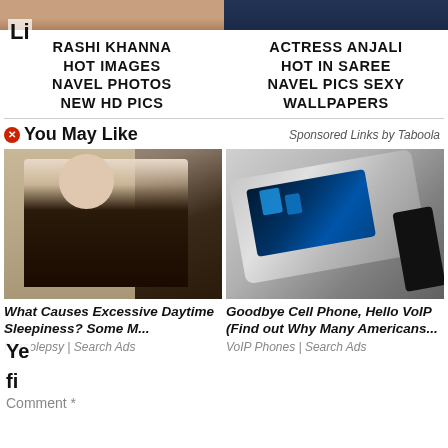[Figure (photo): Partial top strip showing two cropped celebrity photos side by side]
RASHI KHANNA HOT IMAGES NAVEL PHOTOS NEW HD PICS
ACTRESS ANJALI HOT IN SAREE NAVEL PICS SEXY WALLPAPERS
You May Like   Sponsored Links by Taboola
[Figure (photo): Elderly man sleeping in a chair]
[Figure (photo): Handheld projector device in silver and black]
LI
Ye
fi
Comment *
What Causes Excessive Daytime Sleepiness? Some M...
Narcolepsy | Search Ads
Goodbye Cell Phone, Hello VoIP (Find out Why Many Americans...
VoIP Phones | Search Ads